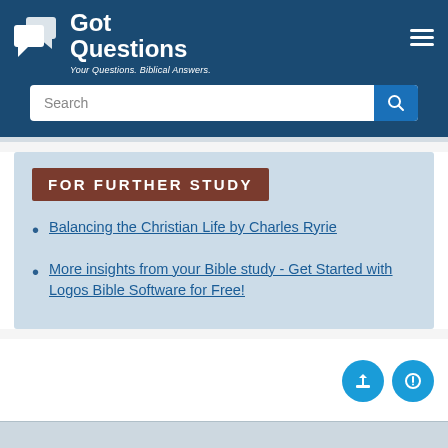GotQuestions - Your Questions. Biblical Answers.
FOR FURTHER STUDY
Balancing the Christian Life by Charles Ryrie
More insights from your Bible study - Get Started with Logos Bible Software for Free!